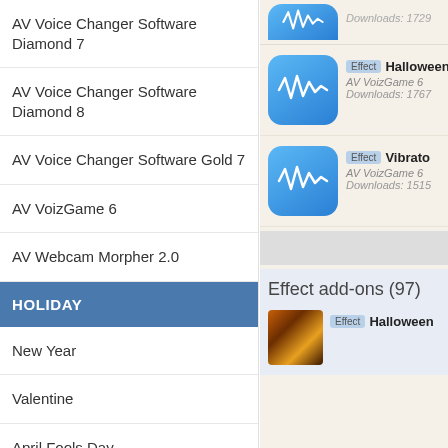AV Voice Changer Software Diamond 7
AV Voice Changer Software Diamond 8
AV Voice Changer Software Gold 7
AV VoizGame 6
AV Webcam Morpher 2.0
HOLIDAY
New Year
Valentine
April Fools Day
July Fourth
[Figure (screenshot): App icon with audio waveform for Halloween effect, Downloads: 1729 (partially visible at top)]
Downloads: 1729
[Figure (screenshot): App icon with audio waveform]
Effect Halloween
AV VoizGame 6
Downloads: 1767
[Figure (screenshot): App icon with audio waveform]
Effect Vibrato
AV VoizGame 6
Downloads: 1515
Effect add-ons (97)
[Figure (photo): Halloween themed thumbnail image]
Effect Halloween
Leave a message